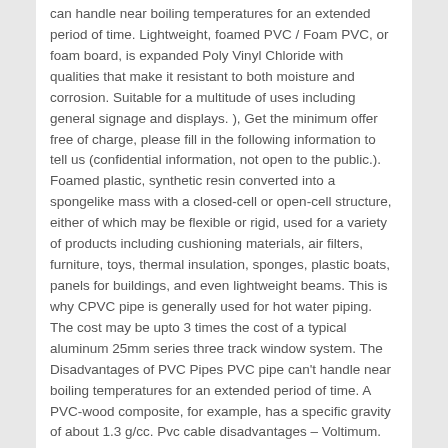can handle near boiling temperatures for an extended period of time. Lightweight, foamed PVC / Foam PVC, or foam board, is expanded Poly Vinyl Chloride with qualities that make it resistant to both moisture and corrosion. Suitable for a multitude of uses including general signage and displays. ), Get the minimum offer free of charge, please fill in the following information to tell us (confidential information, not open to the public.). Foamed plastic, synthetic resin converted into a spongelike mass with a closed-cell or open-cell structure, either of which may be flexible or rigid, used for a variety of products including cushioning materials, air filters, furniture, toys, thermal insulation, sponges, plastic boats, panels for buildings, and even lightweight beams. This is why CPVC pipe is generally used for hot water piping. The cost may be upto 3 times the cost of a typical aluminum 25mm series three track window system. The Disadvantages of PVC Pipes PVC pipe can't handle near boiling temperatures for an extended period of time. A PVC-wood composite, for example, has a specific gravity of about 1.3 g/cc. Pvc cable disadvantages – Voltimum. Trade Names: (Foamed Poly Vinyl Chloride) Semi Rigid Extruded Sheet Foamed PVC is an extruded semi rigid sheet available in a range of colours. 5.